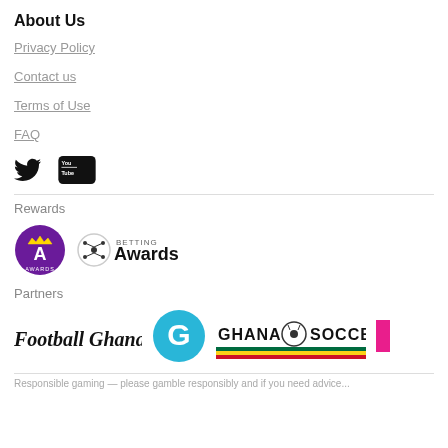About Us
Privacy Policy
Contact us
Terms of Use
FAQ
[Figure (logo): Twitter bird icon and YouTube logo icon in a row]
Rewards
[Figure (logo): Awards logo (purple circle with A and crown) and Betting Awards logo (soccer ball icon with Awards text)]
Partners
[Figure (logo): Partner logos: Football Ghana (blackletter text), GhanaGuardian (teal G circle), Ghana Soccernet (text with soccer ball), and partial fourth logo]
Responsible gaming — please gamble responsibly and if you need advice...